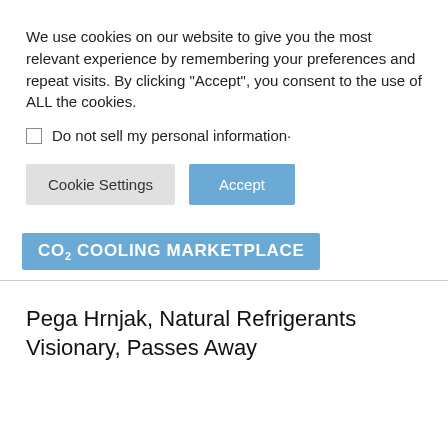We use cookies on our website to give you the most relevant experience by remembering your preferences and repeat visits. By clicking “Accept”, you consent to the use of ALL the cookies.
Do not sell my personal information·
Cookie Settings | Accept
[Figure (logo): CO2 COOLING MARKETPLACE logo badge in blue]
Pega Hrnjak, Natural Refrigerants Visionary, Passes Away